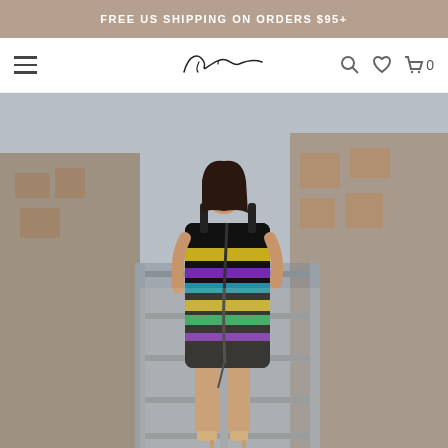FREE US SHIPPING ON ORDERS $95+
[Figure (logo): Fashion brand script logo in navbar]
[Figure (photo): Woman wearing a multicolor striped sequin ruched mini dress with black straps, standing on an outdoor balcony with urban brick building background]